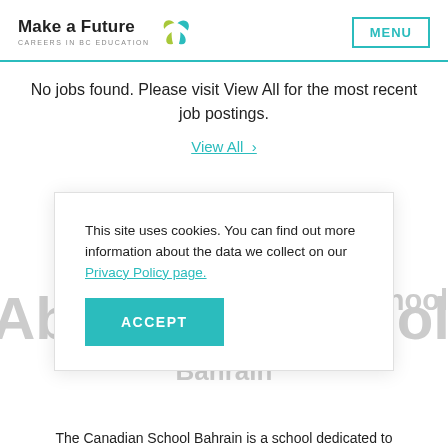Make a Future — CAREERS IN BC EDUCATION — MENU
No jobs found. Please visit View All for the most recent job postings.
View All >
This site uses cookies. You can find out more information about the data we collect on our Privacy Policy page.
ACCEPT
Overview Teaching Abroad at Canadian School Bahrain
The Canadian School Bahrain is a school dedicated to